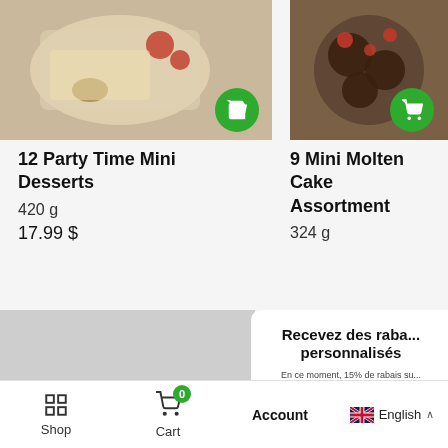[Figure (screenshot): Product image left: cake desserts on plate with nuts and raspberries]
[Figure (screenshot): Product image right: mini molten cakes with raspberries on dark plate]
12 Party Time Mini Desserts
420 g
17.99 $
9 Mini Molten Cake Assortment
324 g
[Figure (screenshot): Second product row placeholder with S-curve logo]
Recevez des rabais personnalisés
En ce moment, 15% de rabais su... première commande
Enter your email address
Français
English
Je veux des rabais
Shop   Cart 0   Account   English